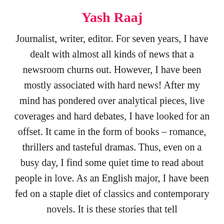Yash Raaj
Journalist, writer, editor. For seven years, I have dealt with almost all kinds of news that a newsroom churns out. However, I have been mostly associated with hard news! After my mind has pondered over analytical pieces, live coverages and hard debates, I have looked for an offset. It came in the form of books – romance, thrillers and tasteful dramas. Thus, even on a busy day, I find some quiet time to read about people in love. As an English major, I have been fed on a staple diet of classics and contemporary novels. It is these stories that tell